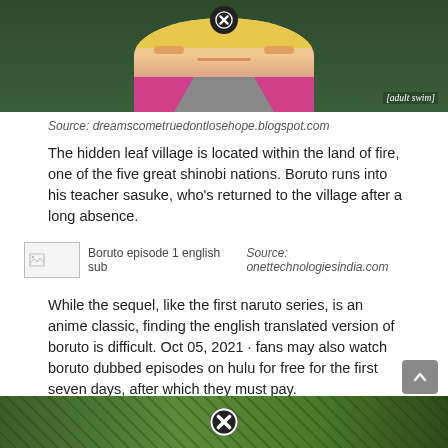[Figure (illustration): Anime screenshot showing a character with blonde hair and pink jacket, with [adult swim] watermark in bottom right, and a close/X button overlay at top center. Background is dark green.]
Source: dreamscometruedontlosehope.blogspot.com
The hidden leaf village is located within the land of fire, one of the five great shinobi nations. Boruto runs into his teacher sasuke, who's returned to the village after a long absence.
[Figure (illustration): Broken/loading image placeholder labeled 'Boruto episode 1 english sub' with source: onettechnologiesindia.com]
While the sequel, like the first naruto series, is an anime classic, finding the english translated version of boruto is difficult. Oct 05, 2021 · fans may also watch boruto dubbed episodes on hulu for free for the first seven days, after which they must pay.
[Figure (photo): Partial bottom image showing green forest/nature scene with a close/X button overlay at center top.]